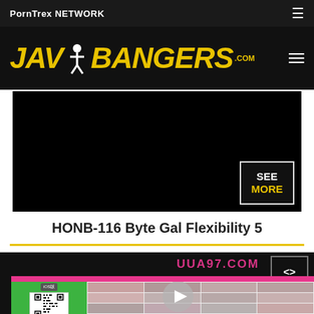PornTrex NETWORK
[Figure (logo): JAV Bangers .com logo in yellow italic bold text on dark background]
[Figure (screenshot): Black video player thumbnail with SEE MORE button overlay in bottom right corner]
HONB-116 Byte Gal Flexibility 5
[Figure (screenshot): Dark background ad with UUA97.COM text, code button, and inner screen showing pink header, QR code panel on green background, thumbnail grid, and play button overlay]